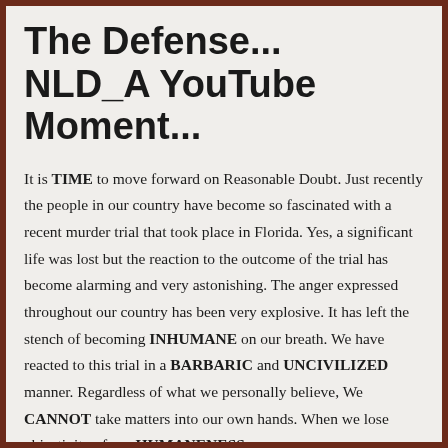The Defense... NLD_A YouTube Moment...
It is TIME to move forward on Reasonable Doubt. Just recently the people in our country have become so fascinated with a recent murder trial that took place in Florida. Yes, a significant life was lost but the reaction to the outcome of the trial has become alarming and very astonishing. The anger expressed throughout our country has been very explosive. It has left the stench of becoming INHUMANE on our breath. We have reacted to this trial in a BARBARIC and UNCIVILIZED manner. Regardless of what we personally believe, We CANNOT take matters into our own hands. When we lose objectivity of our HUMANENESS